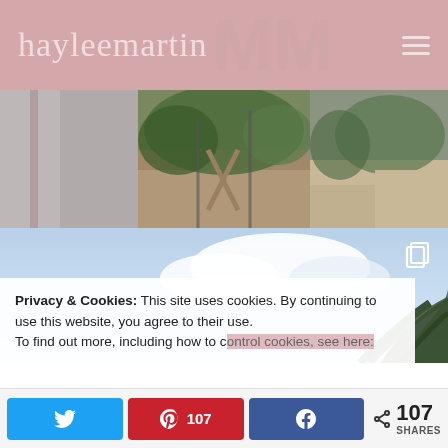hayleemartin
[Figure (photo): Top photo strip showing outdoor scene with playground equipment and green foliage through window/glass panels]
[Figure (photo): Blue sky with clouds and palm tree fronds in the lower right; copy/share icon in upper right corner]
Privacy & Cookies: This site uses cookies. By continuing to use this website, you agree to their use.
To find out more, including how to control cookies, see here:
107  SHARES  [Twitter share button] [Pinterest 107] [Facebook share button]